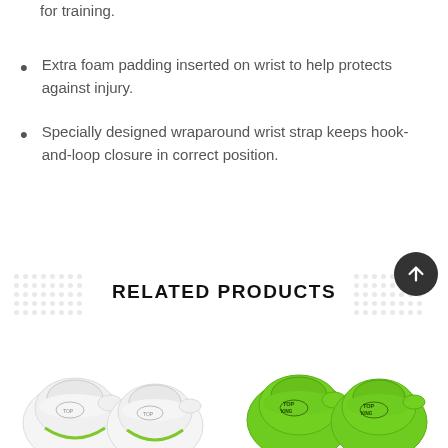for training.
Extra foam padding inserted on wrist to help protects against injury.
Specially designed wraparound wrist strap keeps hook-and-loop closure in correct position.
RELATED PRODUCTS
[Figure (photo): Two white boxing gloves with green and black logo detail (Top King brand), partially visible at bottom left of page.]
[Figure (photo): Two green boxing gloves with black Top King logo, partially visible at bottom right of page.]